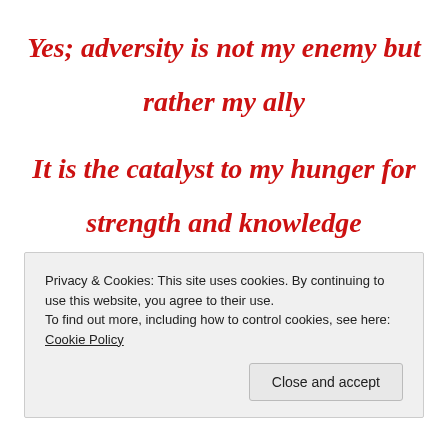Yes; adversity is not my enemy but rather my ally It is the catalyst to my hunger for strength and knowledge
Privacy & Cookies: This site uses cookies. By continuing to use this website, you agree to their use. To find out more, including how to control cookies, see here: Cookie Policy